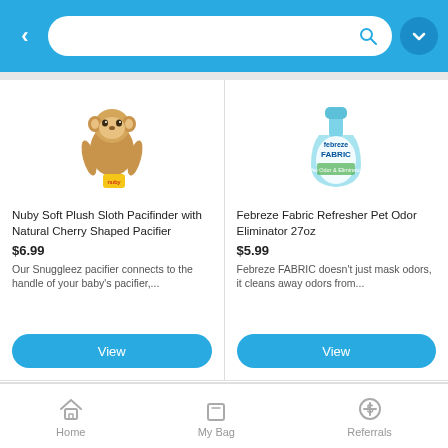Search bar with back button and avatar
[Figure (photo): Nuby Soft Plush Sloth Pacifinder with Natural Cherry Shaped Pacifier product image]
Nuby Soft Plush Sloth Pacifinder with Natural Cherry Shaped Pacifier
$6.99
Our Snuggleez pacifier connects to the handle of your baby's pacifier,...
View
[Figure (photo): Febreze Fabric Refresher Pet Odor Eliminator 27oz product bottle image]
Febreze Fabric Refresher Pet Odor Eliminator 27oz
$5.99
Febreze FABRIC doesn't just mask odors, it cleans away odors from...
View
[Figure (photo): Nuby baby toy product partially visible]
[Figure (photo): Tin/candle product partially visible]
Home   My Bag   Referrals